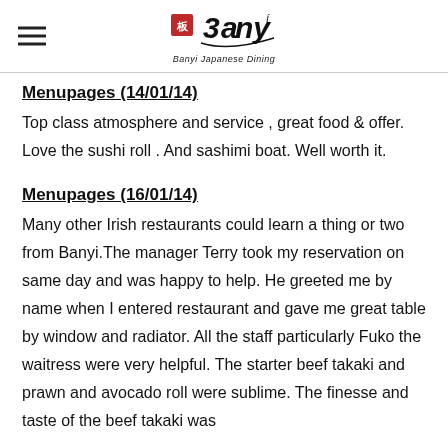Banyi Japanese Dining
Menupages (14/01/14)
Top class atmosphere and service , great food & offer. Love the sushi roll . And sashimi boat. Well worth it.
Menupages (16/01/14)
Many other Irish restaurants could learn a thing or two from Banyi.The manager Terry took my reservation on same day and was happy to help. He greeted me by name when I entered restaurant and gave me great table by window and radiator. All the staff particularly Fuko the waitress were very helpful. The starter beef takaki and prawn and avocado roll were sublime. The finesse and taste of the beef takaki was